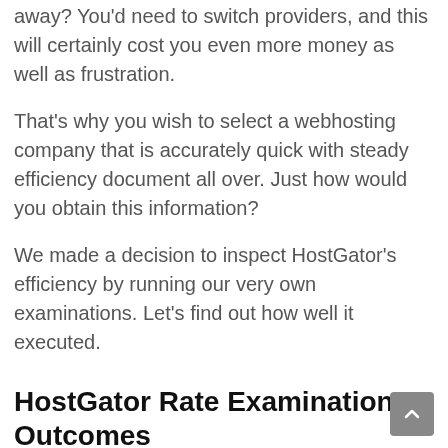away? You'd need to switch providers, and this will certainly cost you even more money as well as frustration.
That's why you wish to select a webhosting company that is accurately quick with steady efficiency document all over. Just how would you obtain this information?
We made a decision to inspect HostGator's efficiency by running our very own examinations. Let's find out how well it executed.
HostGator Rate Examination Outcomes
One of the most vital performance indicator is speed. A faster site is good for your users, and it likewise aids your SEO